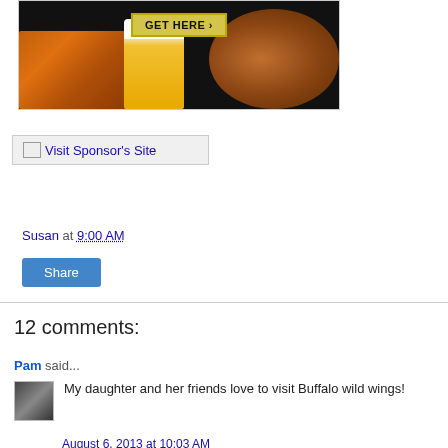[Figure (photo): Advertisement image with dark background showing buffalo wings, a beer glass, and a football, with a yellow 'GET HERE >' button]
Visit Sponsor's Site
Susan at 9:00 AM
Share
12 comments:
Pam said...
My daughter and her friends love to visit Buffalo wild wings!
August 6, 2013 at 10:03 AM